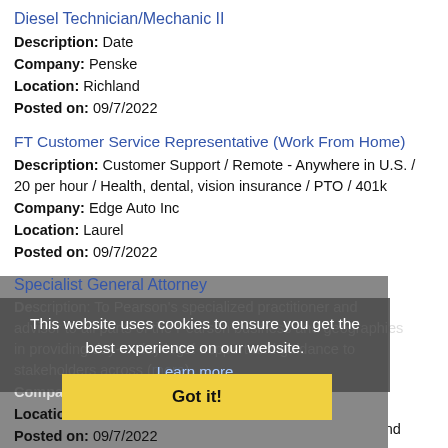Diesel Technician/Mechanic II
Description: Date
Company: Penske
Location: Richland
Posted on: 09/7/2022
FT Customer Service Representative (Work From Home)
Description: Customer Support / Remote - Anywhere in U.S. / 20 per hour / Health, dental, vision insurance / PTO / 401k
Company: Edge Auto Inc
Location: Laurel
Posted on: 09/7/2022
Specialist General Attorney
Description: To Pearson's specialized practitioner and advisor to all parts of the Pearson business and geographies in providing day-to-day legal support and guidance to stakeholders across (...more)
Company: Pearson
Location: Jackson
Posted on: 09/7/2022
This website uses cookies to ensure you get the best experience on our website. Learn more
Got it!
Sales Associate - Calhoun
Description: About the RoleIn this role, you will engage and connect